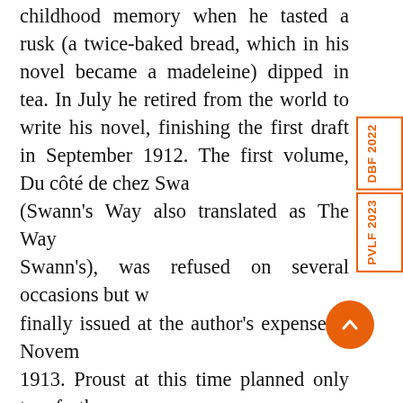childhood memory when he tasted a rusk (a twice-baked bread, which in his novel became a madeleine) dipped in tea. In July he retired from the world to write his novel, finishing the first draft in September 1912. The first volume, Du côté de chez Swann's Way also translated as The Way by Swann's), was refused on several occasions but was finally issued at the author's expense in November 1913. Proust at this time planned only two further volumes. During the war years he revised the remainder of his novel, enriching and deepening its feeling, texture, and construction, enhancing the realistic and satirical elements, and tripling its length. In so doing he transformed it into one of the greatest profound achievements of the human imagination. In